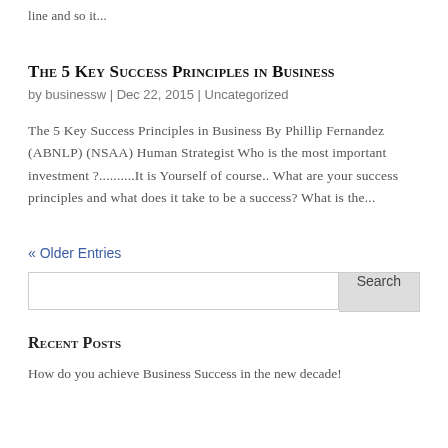line and so it...
The 5 Key Success Principles in Business
by businessw | Dec 22, 2015 | Uncategorized
The 5 Key Success Principles in Business By Phillip Fernandez (ABNLP) (NSAA) Human Strategist Who is the most important investment ?..........It is Yourself of course.. What are your success principles and what does it take to be a success?  What is the...
« Older Entries
Search
Recent Posts
How do you achieve Business Success in the new decade!